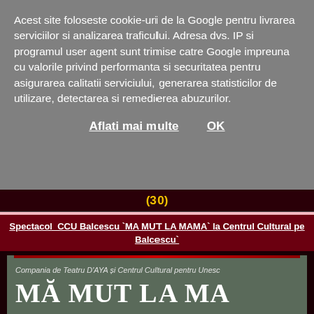Acest site foloseste cookie-uri de la Google pentru livrarea serviciilor si analizarea traficului. Adresa dvs. IP si programul user agent sunt trimise catre Google impreuna cu valorile privind performanta si securitatea pentru asigurarea calitatii serviciului, generarea statisticilor de utilizare, detectarea si remedierea abuzurilor.
Aflati mai multe   OK
(30)
Spectacol  CCU Balcescu `MA MUT LA MAMA` la Centrul Cultural pe Balcescu`
[Figure (illustration): Poster for theatre show 'MĂ MUT LA MAMA' by Compania de Teatru D'AYA and Centrul Cultural pentru Unesco Balcescu]